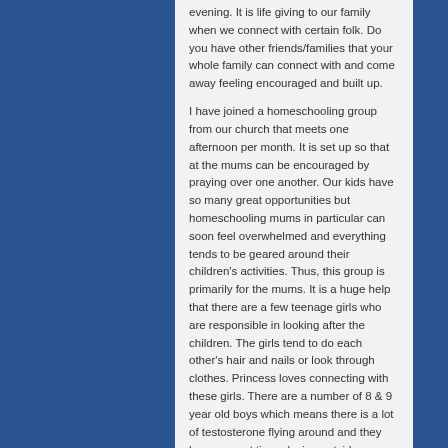evening. It is life giving to our family when we connect with certain folk. Do you have other friends/families that your whole family can connect with and come away feeling encouraged and built up.

I have joined a homeschooling group from our church that meets one afternoon per month. It is set up so that at the mums can be encouraged by praying over one another. Our kids have so many great opportunities but homeschooling mums in particular can soon feel overwhelmed and everything tends to be geared around their children's activities. Thus, this group is primarily for the mums. It is a huge help that there are a few teenage girls who are responsible in looking after the children. The girls tend to do each other's hair and nails or look through clothes. Princess loves connecting with these girls. There are a number of 8 & 9 year old boys which means there is a lot of testosterone flying around and they have a great time playing outside.